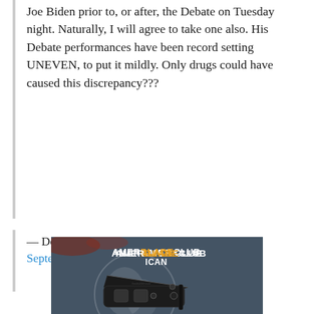Joe Biden prior to, or after, the Debate on Tuesday night. Naturally, I will agree to take one also. His Debate performances have been record setting UNEVEN, to put it mildly. Only drugs could have caused this discrepancy???
— Donald J. Trump (@realDonaldTrump) September 27, 2020
[Figure (photo): Advertisement for American Blade Club showing a black folding knife with text FREE KNIFE at the bottom]